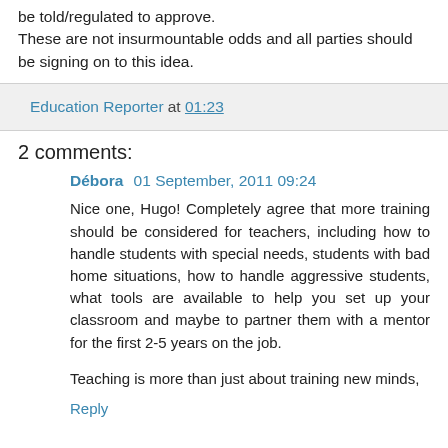be told/regulated to approve.
These are not insurmountable odds and all parties should be signing on to this idea.
Education Reporter at 01:23
2 comments:
Débora 01 September, 2011 09:24
Nice one, Hugo! Completely agree that more training should be considered for teachers, including how to handle students with special needs, students with bad home situations, how to handle aggressive students, what tools are available to help you set up your classroom and maybe to partner them with a mentor for the first 2-5 years on the job.
Teaching is more than just about training new minds,
Reply